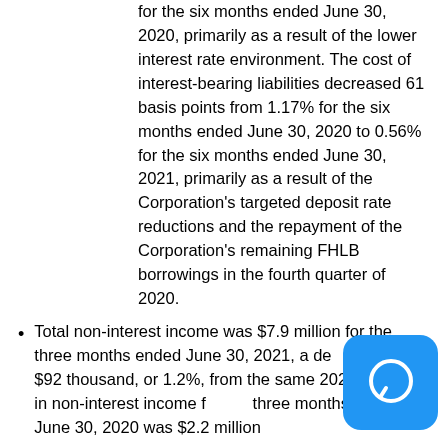for the six months ended June 30, 2020, primarily as a result of the lower interest rate environment. The cost of interest-bearing liabilities decreased 61 basis points from 1.17% for the six months ended June 30, 2020 to 0.56% for the six months ended June 30, 2021, primarily as a result of the Corporation's targeted deposit rate reductions and the repayment of the Corporation's remaining FHLB borrowings in the fourth quarter of 2020.
Total non-interest income was $7.9 million for the three months ended June 30, 2021, a decrease of $92 thousand, or 1.2%, from the same period in 2020. Included in non-interest income for the three months ended June 30, 2020 was $2.2 million [continues...]